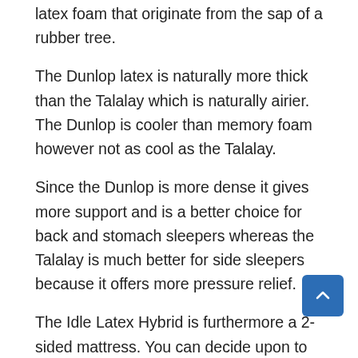latex foam that originate from the sap of a rubber tree.
The Dunlop latex is naturally more thick than the Talalay which is naturally airier. The Dunlop is cooler than memory foam however not as cool as the Talalay.
Since the Dunlop is more dense it gives more support and is a better choice for back and stomach sleepers whereas the Talalay is much better for side sleepers because it offers more pressure relief.
The Idle Latex Hybrid is furthermore a 2-sided mattress. You can decide upon to have both sides